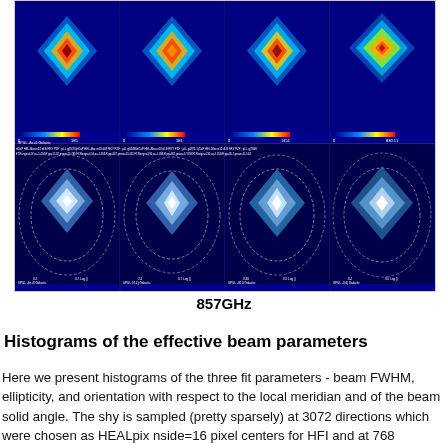[Figure (other): Eight astronomical beam maps arranged in two rows of four. Top row shows false-color (infrared colormap) beam pattern maps at 857GHz with color scale bars below each. Bottom row shows the same beams plotted as contour maps on a dark blue background with white dashed contour lines. Each panel has axis labels and parameter annotations (e.g. FT_Range, sigma, psi values).]
857GHz
Histograms of the effective beam parameters
Here we present histograms of the three fit parameters - beam FWHM, ellipticity, and orientation with respect to the local meridian and of the beam solid angle. The shy is sampled (pretty sparsely) at 3072 directions which were chosen as HEALpix nside=16 pixel centers for HFI and at 768 directions which were chosen as HEALpix